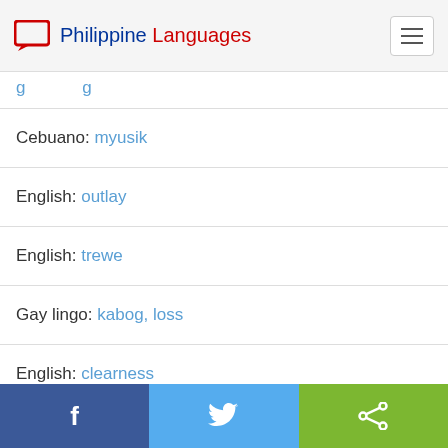Philippine Languages
Cebuano: myusik
English: outlay
English: trewe
Gay lingo: kabog, loss
English: clearness
English: tuko-tuko
Facebook | Twitter | Share